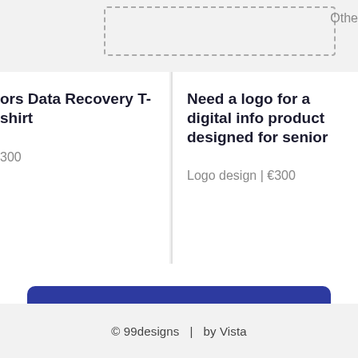ors Data Recovery T-shirt
300
Need a logo for a digital info product designed for senior
Logo design | €300
Get a design
Designers, see opportunities →
© 99designs  |  by Vista